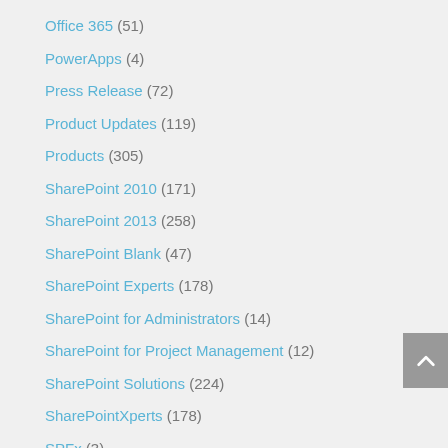Office 365 (51)
PowerApps (4)
Press Release (72)
Product Updates (119)
Products (305)
SharePoint 2010 (171)
SharePoint 2013 (258)
SharePoint Blank (47)
SharePoint Experts (178)
SharePoint for Administrators (14)
SharePoint for Project Management (12)
SharePoint Solutions (224)
SharePointXperts (178)
SPFx (3)